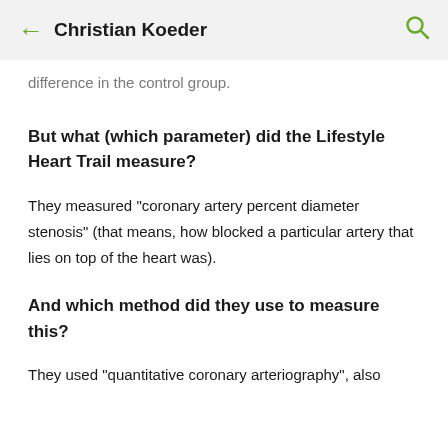Christian Koeder
difference in the control group.
But what (which parameter) did the Lifestyle Heart Trail measure?
They measured "coronary artery percent diameter stenosis" (that means, how blocked a particular artery that lies on top of the heart was).
And which method did they use to measure this?
They used "quantitative coronary arteriography", also